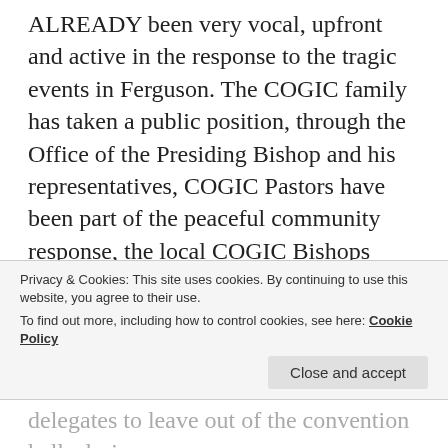ALREADY been very vocal, upfront and active in the response to the tragic events in Ferguson. The COGIC family has taken a public position, through the Office of the Presiding Bishop and his representatives, COGIC Pastors have been part of the peaceful community response, the local COGIC Bishops have been an integral part, and the COGIC Evangelism Department has been out front having a tremendous impact in ways that the newspapers and general media outlets have NOT reported or drawn attention to. So this entire piece, while well
Privacy & Cookies: This site uses cookies. By continuing to use this website, you agree to their use.
To find out more, including how to control cookies, see here: Cookie Policy
delegates to leave out of the convention halls during
the Annual Convention there when the Ferguson